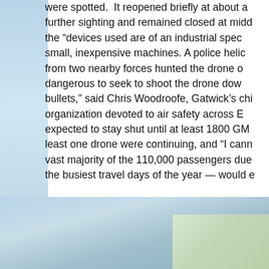were spotted. It reopened briefly at about a further sighting and remained closed at midd the "devices used are of an industrial spec small, inexpensive machines. A police helic from two nearby forces hunted the drone o dangerous to seek to shoot the drone dow bullets," said Chris Woodroofe, Gatwick's chi organization devoted to air safety across E expected to stay shut until at least 1800 GM least one drone were continuing, and "I cann vast majority of the 110,000 passengers due the busiest travel days of the year — would e
[Figure (photo): Background sky photo on left side and bottom of page, with a small partially visible photo in the bottom right corner showing green landscape.]